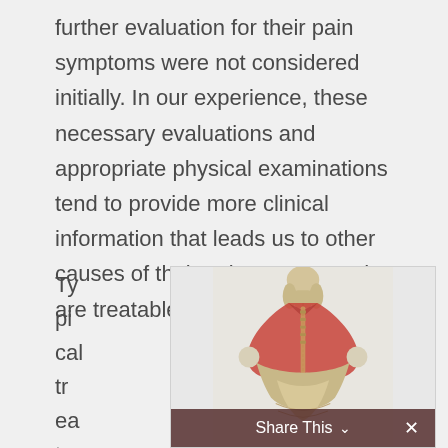further evaluation for their pain symptoms were not considered initially. In our experience, these necessary evaluations and appropriate physical examinations tend to provide more clinical information that leads us to other causes of their pain symptoms that are treatable.
Typical treatment
[Figure (illustration): Anatomical illustration showing the posterior view of a human torso and neck, highlighting the trapezius and upper back muscles in red/pink against beige skeletal and muscular structures.]
Share This